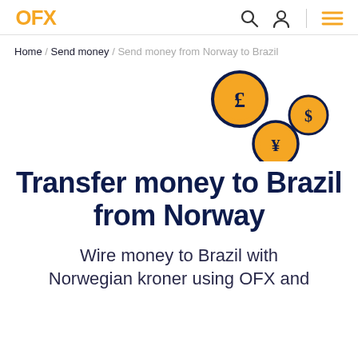OFX
Home / Send money / Send money from Norway to Brazil
[Figure (illustration): Three currency coin icons with dark navy borders and orange fills showing £, $ and ¥ symbols, arranged decoratively on the right side of the page]
Transfer money to Brazil from Norway
Wire money to Brazil with Norwegian kroner using OFX and